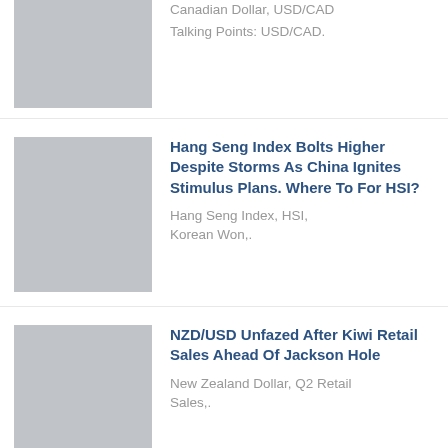[Figure (photo): Thumbnail image placeholder (gray) for Canadian Dollar / USD/CAD article]
Canadian Dollar, USD/CAD
Talking Points: USD/CAD.
[Figure (photo): Thumbnail image placeholder (gray) for Hang Seng Index article]
Hang Seng Index Bolts Higher Despite Storms As China Ignites Stimulus Plans. Where To For HSI?
Hang Seng Index, HSI, Korean Won,.
[Figure (photo): Thumbnail image placeholder (gray) for NZD/USD article]
NZD/USD Unfazed After Kiwi Retail Sales Ahead Of Jackson Hole
New Zealand Dollar, Q2 Retail Sales,.
[Figure (photo): Thumbnail image placeholder (gray) for Gold Breakdown article]
Gold Breakdown Pivots Back For Resistance Test
Gold Talking Points: Gold